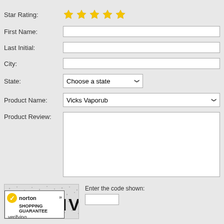Star Rating:
[Figure (illustration): Five gold star rating icons displayed in a row]
First Name:
Last Initial:
City:
State:
Choose a state
Product Name:
Vicks Vaporub
Product Review:
Enter the code shown:
[Figure (illustration): CAPTCHA image with letters N N T N V on a noisy/dotted background]
[Figure (logo): Norton Shopping Guarantee badge with yellow checkmark and verifying... text]